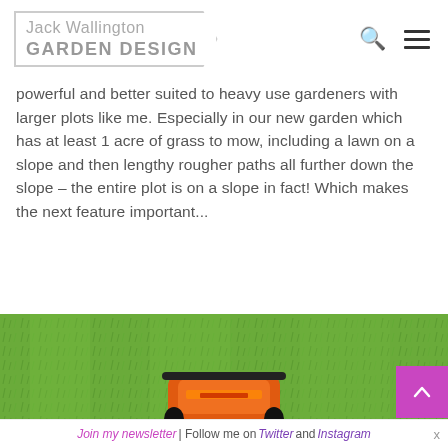Jack Wallington GARDEN DESIGN
powerful and better suited to heavy use gardeners with larger plots like me. Especially in our new garden which has at least 1 acre of grass to mow, including a lawn on a slope and then lengthy rougher paths all further down the slope – the entire plot is on a slope in fact! Which makes the next feature important...
[Figure (photo): Overhead view of a lawn mower on green grass, showing the orange and black mower body from above.]
Join my newsletter | Follow me on Twitter and Instagram  x